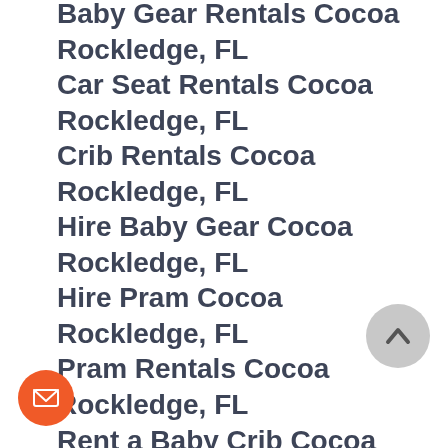Baby Gear Rentals Cocoa Rockledge, FL
Car Seat Rentals Cocoa Rockledge, FL
Crib Rentals Cocoa Rockledge, FL
Hire Baby Gear Cocoa Rockledge, FL
Hire Pram Cocoa Rockledge, FL
Pram Rentals Cocoa Rockledge, FL
Rent a Baby Crib Cocoa Rockledge, FL
Rent a Car Seat Cocoa Rockledge, FL
Rent a Stroller Cocoa Rockledge, FL
Rent Baby Crib Cocoa Rockledge, FL
Rent Baby Gear Cocoa Rockledge, FL
Rent Booster Seat Cocoa Rockledge, FL
Rent Car Seat Cocoa Rockledge, FL
Rent Crib Cocoa Rockledge, FL
Stroller Rentals Cocoa Rockledge, FL
Rent a Crib Cocoa Rockledge, Florida
by Crib Rentals Cocoa Rockledge, Florida
Baby Equipment Rental Cocoa Rockledge,